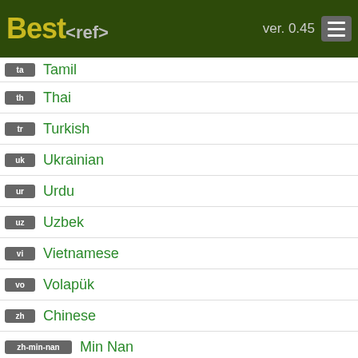[Figure (logo): BestRef logo with green background, yellow 'Best' text and grey '<ref>' text, version number 'ver. 0.45', and hamburger menu button]
ta Tamil
th Thai
tr Turkish
uk Ukrainian
ur Urdu
uz Uzbek
vi Vietnamese
vo Volapük
zh Chinese
zh-min-nan Min Nan
More languages...
About the project
BestRef shows popularity and reliability scores